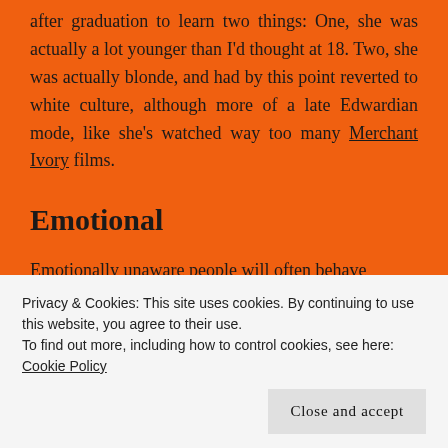after graduation to learn two things: One, she was actually a lot younger than I'd thought at 18. Two, she was actually blonde, and had by this point reverted to white culture, although more of a late Edwardian mode, like she's watched way too many Merchant Ivory films.
Emotional
Emotionally unaware people will often behave
Privacy & Cookies: This site uses cookies. By continuing to use this website, you agree to their use.
To find out more, including how to control cookies, see here: Cookie Policy